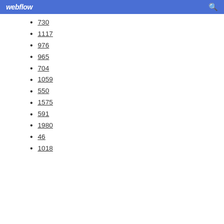webflow
730
1117
976
965
704
1059
550
1575
591
1980
46
1018